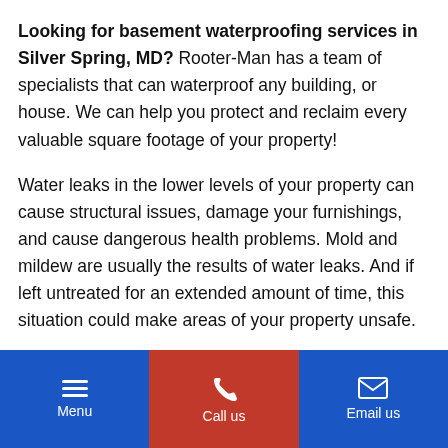Looking for basement waterproofing services in Silver Spring, MD? Rooter-Man has a team of specialists that can waterproof any building, or house. We can help you protect and reclaim every valuable square footage of your property!

Water leaks in the lower levels of your property can cause structural issues, damage your furnishings, and cause dangerous health problems. Mold and mildew are usually the results of water leaks. And if left untreated for an extended amount of time, this situation could make areas of your property unsafe.
Basement Waterproofing Services in Silver Spring,
Menu | Call us | Email us